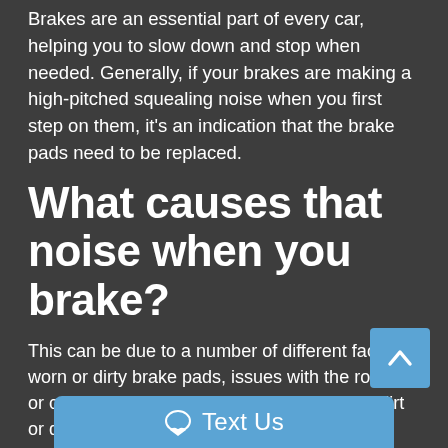Brakes are an essential part of every car, helping you to slow down and stop when needed. Generally, if your brakes are making a high-pitched squealing noise when you first step on them, it's an indication that the brake pads need to be replaced.
What causes that noise when you brake?
This can be due to a number of different factors - worn or dirty brake pads, issues with the rotors or calipers, or even something as simple as dirt or debris caught in the brakes.
If you're noticing a strange noise coming from your brakes, it's always best to have them checked out by a professional mechanic to ensure there isn't a bigger is...